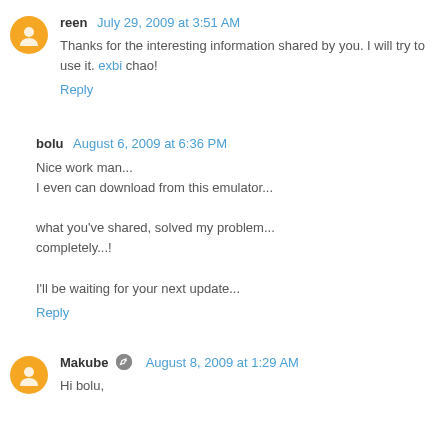reen July 29, 2009 at 3:51 AM
Thanks for the interesting information shared by you. I will try to use it. exbi chao!
Reply
bolu August 6, 2009 at 6:36 PM
Nice work man...
I even can download from this emulator...

what you've shared, solved my problem...
completely...!

I'll be waiting for your next update...
Reply
Makube August 8, 2009 at 1:29 AM
Hi bolu,